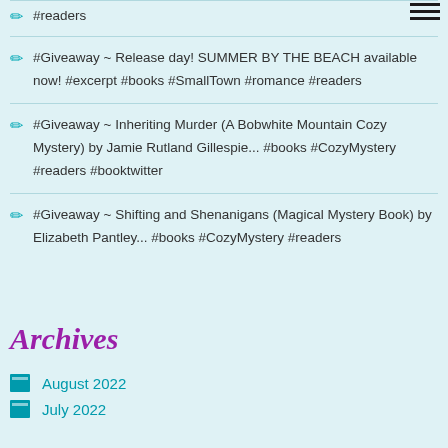#readers
#Giveaway ~ Release day! SUMMER BY THE BEACH available now! #excerpt #books #SmallTown #romance #readers
#Giveaway ~ Inheriting Murder (A Bobwhite Mountain Cozy Mystery) by Jamie Rutland Gillespie... #books #CozyMystery #readers #booktwitter
#Giveaway ~ Shifting and Shenanigans (Magical Mystery Book) by Elizabeth Pantley... #books #CozyMystery #readers
Archives
August 2022
July 2022